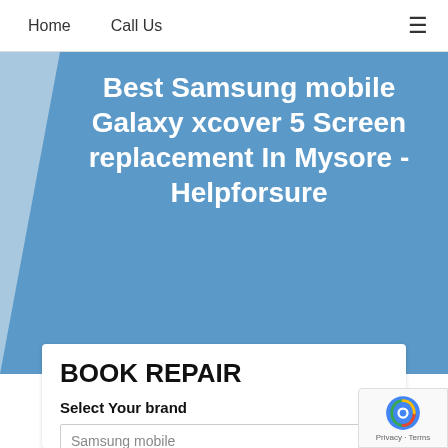Home   Call Us   ≡
Best Samsung mobile Galaxy xcover 5 Screen replacement In Mysore - Helpforsure
BOOK REPAIR
Select Your brand
Samsung mobile